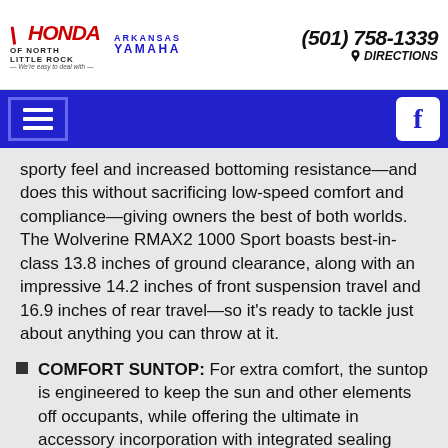Honda of North Little Rock | Arkansas Yamaha | (501) 758-1339 | DIRECTIONS
sporty feel and increased bottoming resistance—and does this without sacrificing low-speed comfort and compliance—giving owners the best of both worlds. The Wolverine RMAX2 1000 Sport boasts best-in-class 13.8 inches of ground clearance, along with an impressive 14.2 inches of front suspension travel and 16.9 inches of rear travel—so it's ready to tackle just about anything you can throw at it.
COMFORT SUNTOP: For extra comfort, the suntop is engineered to keep the sun and other elements off occupants, while offering the ultimate in accessory incorporation with integrated sealing surfaces and mounting points for a variety of Yamaha Genuine